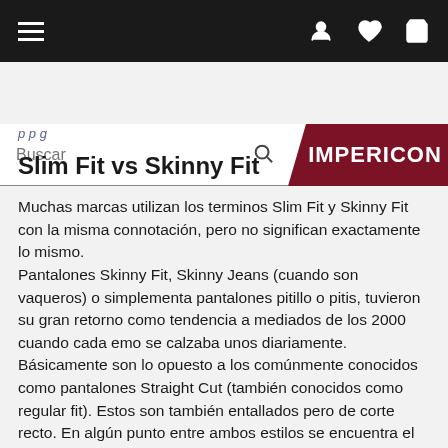Navigation bar with hamburger menu, user icon, heart icon, cart icon
[Figure (screenshot): Search bar with Buscar placeholder and magnifier icon, alongside IMPERICON logo on dark red background with chevron cutout]
p p g
Slim Fit vs Skinny Fit
Muchas marcas utilizan los terminos Slim Fit y Skinny Fit con la misma connotación, pero no significan exactamente lo mismo.
Pantalones Skinny Fit, Skinny Jeans (cuando son vaqueros) o simplementa pantalones pitillo o pitis, tuvieron su gran retorno como tendencia a mediados de los 2000 cuando cada emo se calzaba unos diariamente. Básicamente son lo opuesto a los comúnmente conocidos como pantalones Straight Cut (también conocidos como regular fit). Estos son también entallados pero de corte recto. En algún punto entre ambos estilos se encuentra el